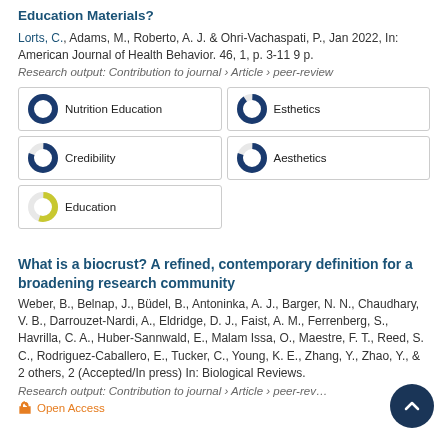Education Materials?
Lorts, C., Adams, M., Roberto, A. J. & Ohri-Vachaspati, P., Jan 2022, In: American Journal of Health Behavior. 46, 1, p. 3-11 9 p.
Research output: Contribution to journal › Article › peer-review
[Figure (infographic): Five keyword badges with donut/pie chart icons showing topic relevance percentages: Nutrition Education (100%), Esthetics (~90%), Credibility (~80%), Aesthetics (~80%), Education (~55%)]
What is a biocrust? A refined, contemporary definition for a broadening research community
Weber, B., Belnap, J., Büdel, B., Antoninka, A. J., Barger, N. N., Chaudhary, V. B., Darrouzet-Nardi, A., Eldridge, D. J., Faist, A. M., Ferrenberg, S., Havrilla, C. A., Huber-Sannwald, E., Malam Issa, O., Maestre, F. T., Reed, S. C., Rodriguez-Caballero, E., Tucker, C., Young, K. E., Zhang, Y., Zhao, Y., & 2 others, 2 (Accepted/In press) In: Biological Reviews.
Research output: Contribution to journal › Article › peer-review
Open Access